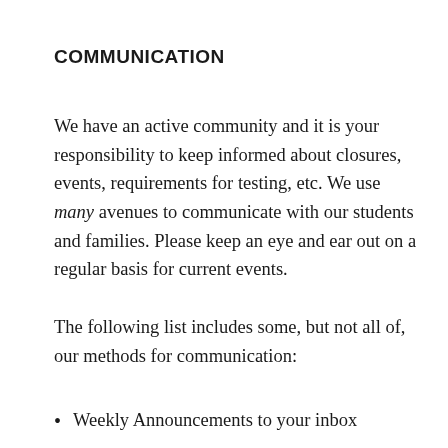COMMUNICATION
We have an active community and it is your responsibility to keep informed about closures, events, requirements for testing, etc. We use many avenues to communicate with our students and families. Please keep an eye and ear out on a regular basis for current events.
The following list includes some, but not all of, our methods for communication:
Weekly Announcements to your inbox